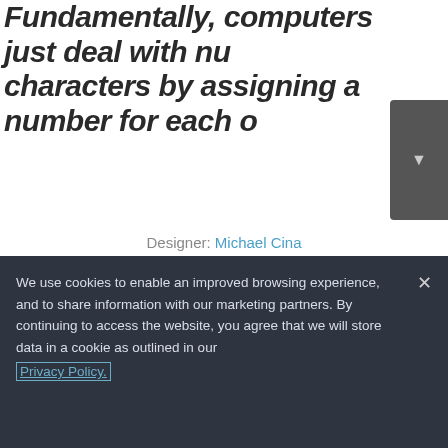Fundamentally, computers just deal with numbers. They store letters and other characters by assigning a number for each one.
Designer: Michael Cina
/ Foundry: Associated Typographics
/ Classifications: Sans Serif, Display
Buy from $39
View Family
We use cookies to enable an improved browsing experience, and to share information with our marketing partners. By continuing to access the website, you agree that we will store data in a cookie as outlined in our Privacy Policy.